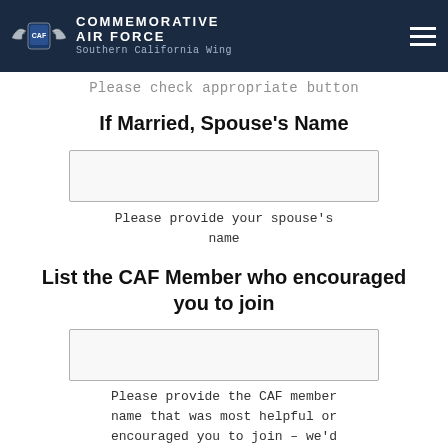COMMEMORATIVE AIR FORCE
Southern California Wing
Please check appropriate button
If Married, Spouse's Name
[Figure (other): Empty text input field for spouse's name]
Please provide your spouse's name
List the CAF Member who encouraged you to join
[Figure (other): Empty text input field for CAF member name]
Please provide the CAF member name that was most helpful or encouraged you to join - we'd